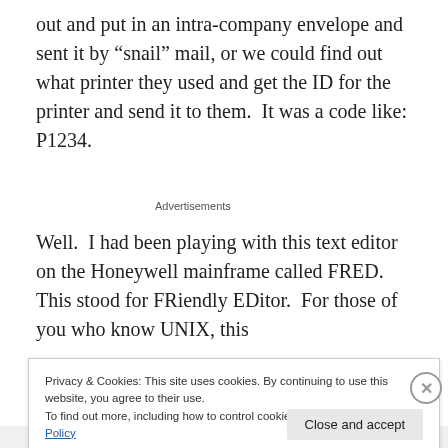out and put in an intra-company envelope and sent it by “snail” mail, or we could find out what printer they used and get the ID for the printer and send it to them.  It was a code like:  P1234.
Advertisements
Well.  I had been playing with this text editor on the Honeywell mainframe called FRED.  This stood for FRiendly EDitor.  For those of you who know UNIX, this
Privacy & Cookies: This site uses cookies. By continuing to use this website, you agree to their use.
To find out more, including how to control cookies, see here: Cookie Policy